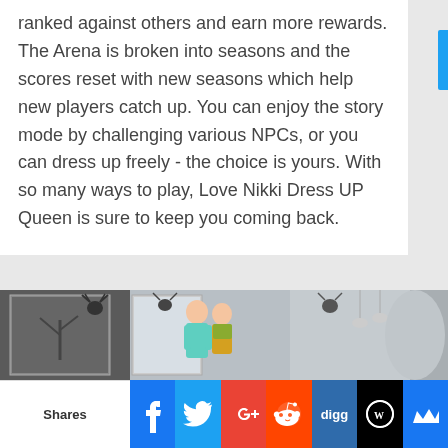ranked against others and earn more rewards. The Arena is broken into seasons and the scores reset with new seasons which help new players catch up. You can enjoy the story mode by challenging various NPCs, or you can dress up freely - the choice is yours. With so many ways to play, Love Nikki Dress UP Queen is sure to keep you coming back.
[Figure (illustration): Screenshot from Love Nikki Dress UP Queen game showing two stylized characters (a man and a woman) in a modern interior room decorated with deer head wall mounts, framed winter landscape artworks, and pendant lamps.]
Shares | Facebook | Twitter | Google+ | Reddit | digg | WordPress | (crown icon)